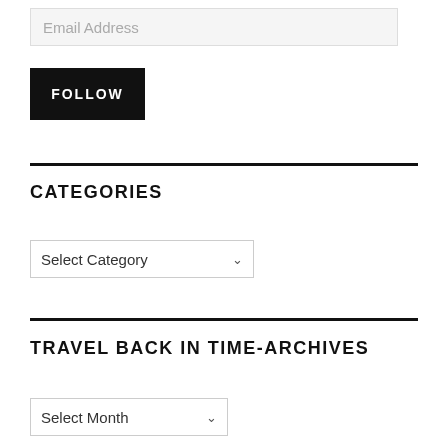Email Address
FOLLOW
CATEGORIES
Select Category
TRAVEL BACK IN TIME-ARCHIVES
Select Month